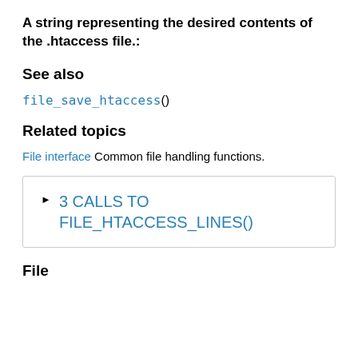A string representing the desired contents of the .htaccess file.:
See also
file_save_htaccess()
Related topics
File interface Common file handling functions.
▶ 3 CALLS TO FILE_HTACCESS_LINES()
File